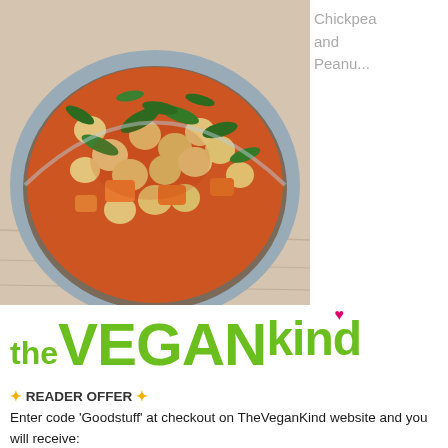[Figure (photo): Bowl of chickpea and peanut stew/curry with spinach and tomato sauce, photographed from above on a wooden surface]
Chickpea and Peanu...
[Figure (logo): TheVeganKind logo in green text with a pink heart above the letter i in Kind]
✦ READER OFFER ✦
Enter code 'Goodstuff' at checkout on TheVeganKind website and you will receive: